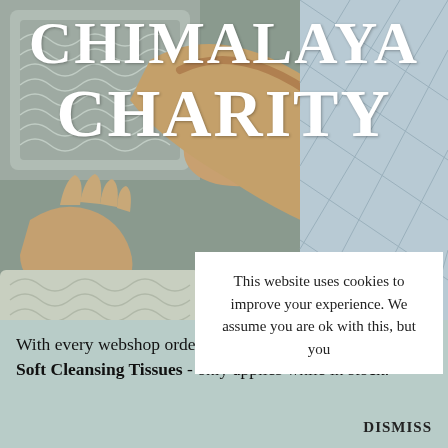[Figure (photo): Background photo of a person holding or embracing pillows/bedding with grey patterned fabric, muted tones of grey and beige.]
CHIMALAYA CHARITY
This website uses cookies to improve your experience. We assume you are ok with this, but you
With every webshop order we give a pack of Skin Prep - Soft Cleansing Tissues - only applies while in stock.
DISMISS